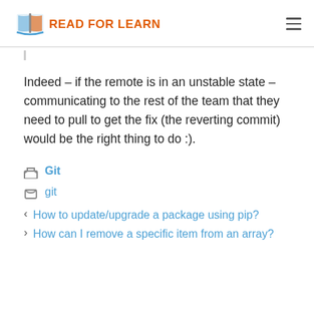READ FOR LEARN
Indeed – if the remote is in an unstable state – communicating to the rest of the team that they need to pull to get the fix (the reverting commit) would be the right thing to do :).
Git
git
< How to update/upgrade a package using pip?
> How can I remove a specific item from an array?